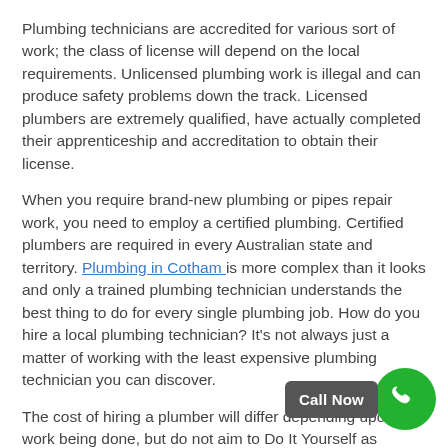Plumbing technicians are accredited for various sort of work; the class of license will depend on the local requirements. Unlicensed plumbing work is illegal and can produce safety problems down the track. Licensed plumbers are extremely qualified, have actually completed their apprenticeship and accreditation to obtain their license.
When you require brand-new plumbing or pipes repair work, you need to employ a certified plumbing. Certified plumbers are required in every Australian state and territory. Plumbing in Cotham is more complex than it looks and only a trained plumbing technician understands the best thing to do for every single plumbing job. How do you hire a local plumbing technician? It's not always just a matter of working with the least expensive plumbing technician you can discover.
The cost of hiring a plumber will differ depending upon the work being done, but do not aim to Do It Yourself as